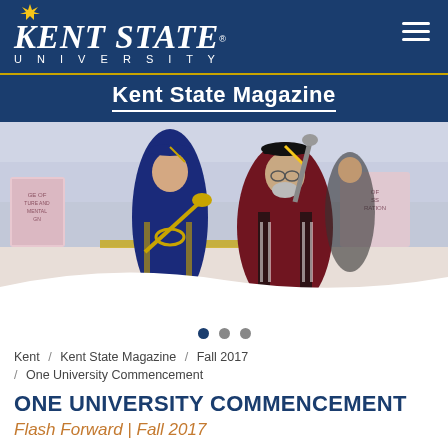Kent State University — Kent State Magazine
[Figure (photo): Two people in academic regalia on a commencement stage; a woman in blue doctoral robes and a man in maroon doctoral robes holding a ceremonial mace or scepter]
Kent / Kent State Magazine / Fall 2017 / One University Commencement
ONE UNIVERSITY COMMENCEMENT
Flash Forward | Fall 2017